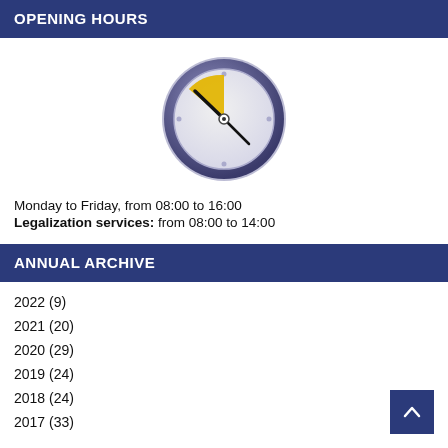OPENING HOURS
[Figure (illustration): Clock icon showing approximately 10:10 time with golden/yellow hour hand sector, purple-blue bezel, white face]
Monday to Friday, from 08:00 to 16:00
Legalization services: from 08:00 to 14:00
ANNUAL ARCHIVE
2022 (9)
2021 (20)
2020 (29)
2019 (24)
2018 (24)
2017 (33)